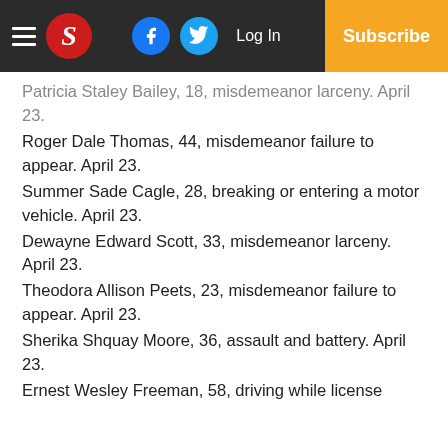S [logo] | Facebook | Twitter | Log In | Subscribe
Patricia Staley Bailey, 18, misdemeanor larceny. April 23.
Roger Dale Thomas, 44, misdemeanor failure to appear. April 23.
Summer Sade Cagle, 28, breaking or entering a motor vehicle. April 23.
Dewayne Edward Scott, 33, misdemeanor larceny. April 23.
Theodora Allison Peets, 23, misdemeanor failure to appear. April 23.
Sherika Shquay Moore, 36, assault and battery. April 23.
Ernest Wesley Freeman, 58, driving while license